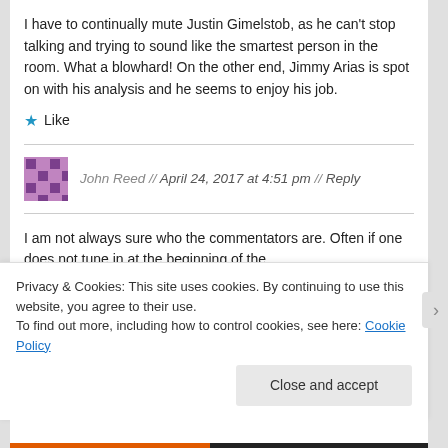I have to continually mute Justin Gimelstob, as he can't stop talking and trying to sound like the smartest person in the room. What a blowhard! On the other end, Jimmy Arias is spot on with his analysis and he seems to enjoy his job.
★ Like
John Reed // April 24, 2017 at 4:51 pm // Reply
I am not always sure who the commentators are. Often if one does not tune in at the beginning of the
Privacy & Cookies: This site uses cookies. By continuing to use this website, you agree to their use.
To find out more, including how to control cookies, see here: Cookie Policy
Close and accept